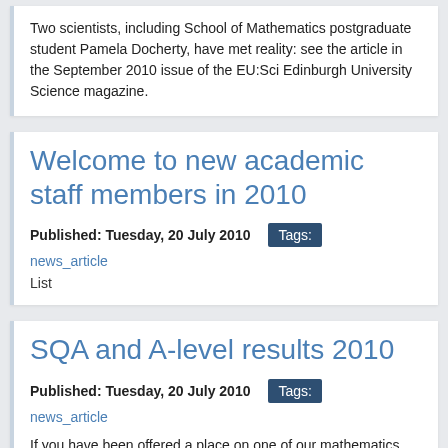Two scientists, including School of Mathematics postgraduate student Pamela Docherty, have met reality: see the article in the September 2010 issue of the EU:Sci Edinburgh University Science magazine.
Welcome to new academic staff members in 2010
Published: Tuesday, 20 July 2010   Tags:
news_article
List
SQA and A-level results 2010
Published: Tuesday, 20 July 2010   Tags:
news_article
If you have been offered a place on one of our mathematics degrees but need to discuss this in light of your results you should contact our admissions officers in the College of